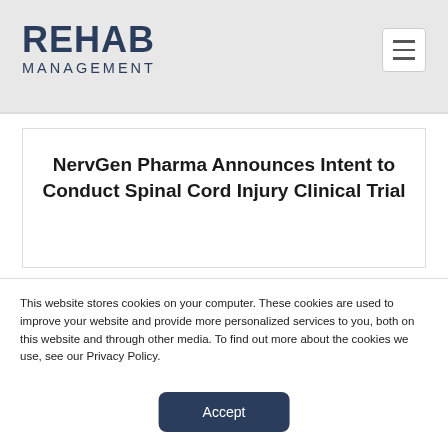REHAB MANAGEMENT
NervGen Pharma Announces Intent to Conduct Spinal Cord Injury Clinical Trial
This website stores cookies on your computer. These cookies are used to improve your website and provide more personalized services to you, both on this website and through other media. To find out more about the cookies we use, see our Privacy Policy.
Accept